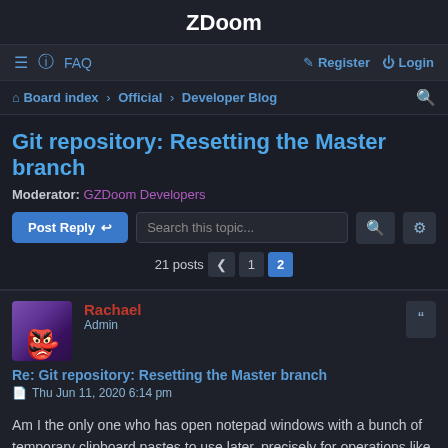ZDoom
≡  FAQ    Register  Login
Board index › Official › Developer Blog
Git repository: Resetting the Master branch
Moderator: GZDoom Developers
Post Reply   Search this topic...   21 posts  1  2
Rachael
Admin
Re: Git repository: Resetting the Master branch
Thu Jun 11, 2020 6:14 pm
Am I the only one who has open notepad windows with a bunch of temporary clipboard pastes to use later, precisely for operations like this? >_>

Nevertheless the point I am trying to make is resetting branches is a bit